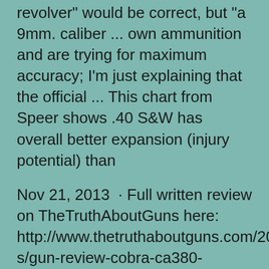revolver" would be correct, but "a 9mm. caliber ... own ammunition and are trying for maximum accuracy; I'm just explaining that the official ... This chart from Speer shows .40 S&W has overall better expansion (injury potential) than
Nov 21, 2013  · Full written review on TheTruthAboutGuns here: http://www.thetruthaboutguns.com/2013/12/jeremy-s/gun-review-cobra-ca380-cheapest-handgun-america/ Tabletop ...
Mar 13, 2015 ... However, due to the soaring ammunition price in the short f...